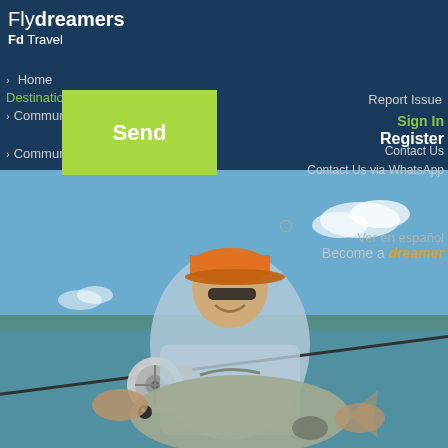Flydreamers Fd Travel
Home
Destinations
Community
Send
Report Issue
Sign In
Register
Contact Us
Contact Us via WhatsApp
[Figure (photo): Man holding a large permit fish with a fly rod in his mouth, standing in tropical shallow water, wearing an orange cap and sunglasses, blue sky with clouds in background]
Ver en español
Become a dreamer